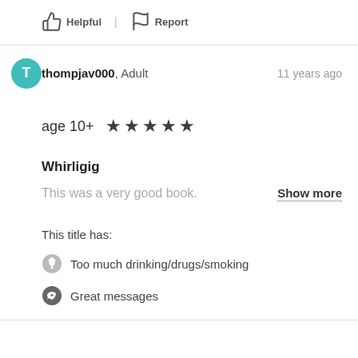Helpful | Report
thompjav000, Adult — 11 years ago
age 10+ ★★★★★
Whirligig
This was a very good book.
Show more
This title has:
Too much drinking/drugs/smoking
Great messages
Helpful  Report
syllable, Adult — 11 years ago